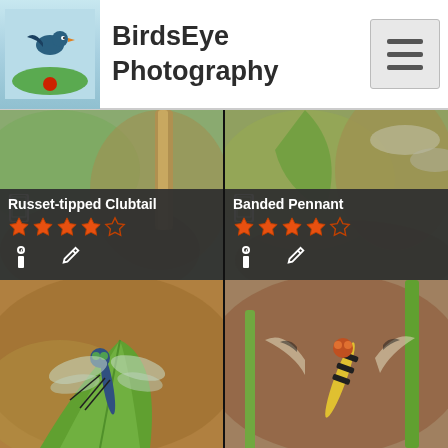BirdsEye Photography
[Figure (screenshot): Mobile app screenshot showing BirdsEye Photography with a 2x2 grid of dragonfly photos. Top-left: Russet-tipped Clubtail with 4/5 star rating. Top-right: Banded Pennant with 4/5 star rating. Bottom-left: dragonfly on green leaf. Bottom-right: banded dragonfly on plant stem.]
Russet-tipped Clubtail
Banded Pennant